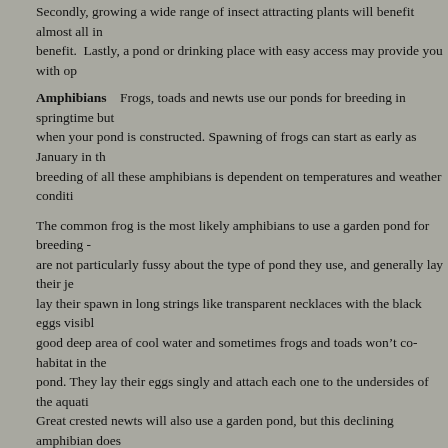Secondly, growing a wide range of insect attracting plants will benefit almost all insects - benefit. Lastly, a pond or drinking place with easy access may provide you with op
Amphibians   Frogs, toads and newts use our ponds for breeding in springtime but when your pond is constructed. Spawning of frogs can start as early as January in the breeding of all these amphibians is dependent on temperatures and weather conditions
The common frog is the most likely amphibians to use a garden pond for breeding - are not particularly fussy about the type of pond they use, and generally lay their je lay their spawn in long strings like transparent necklaces with the black eggs visible good deep area of cool water and sometimes frogs and toads won't co-habitat in the pond. They lay their eggs singly and attach each one to the undersides of the aquatic Great crested newts will also use a garden pond, but this declining amphibian does and quite large – they can reach up to 18 centimeters in length - so they can be disti are fully protected by law under the Wildlife and Countryside Act 1981 and their ha habit with other newt species, but it is worth remembering that they will eat the spa
If amphibians of any species are around in your area they will soon find a new pond avoided.
Reptiles
If you are fortunate you may find that slow worms and grass snakes use your garden temperatures are often warm. Grass snakes also like water so a wildlife pond, espe undisturbed areas of garden where perhaps there are piles of stones or rubble, with lizards are quite uncommon in gardens unless you happen to live in an area where to
If you have any of these reptiles in your garden, you should be aware that they have